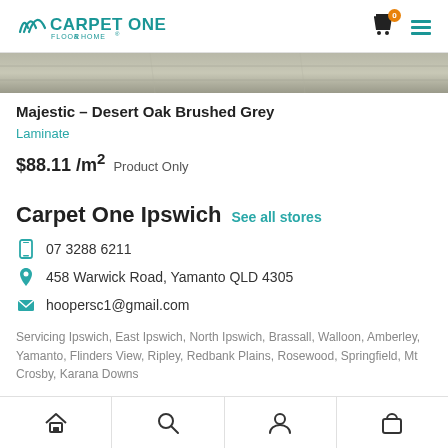Carpet One Floor & Home
[Figure (photo): Partial product image strip showing a grey wood laminate floor texture]
Majestic – Desert Oak Brushed Grey
Laminate
$88.11 /m² Product Only
Carpet One Ipswich See all stores
07 3288 6211
458 Warwick Road, Yamanto QLD 4305
hoopersc1@gmail.com
Servicing Ipswich, East Ipswich, North Ipswich, Brassall, Walloon, Amberley, Yamanto, Flinders View, Ripley, Redbank Plains, Rosewood, Springfield, Mt Crosby, Karana Downs
Home | Search | Account | Bag